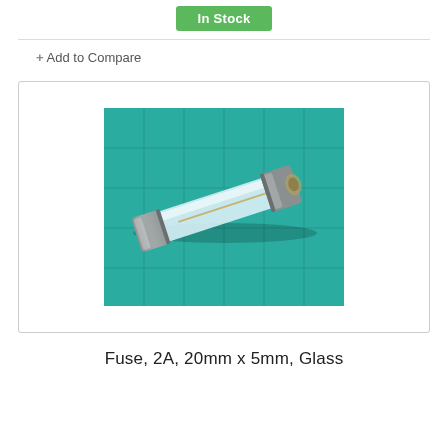In Stock
+ Add to Compare
[Figure (photo): A glass fuse, 2A 20mm x 5mm, photographed on a teal/green cutting mat background. The fuse has silver metal end caps and a transparent glass tube body.]
Fuse, 2A, 20mm x 5mm, Glass